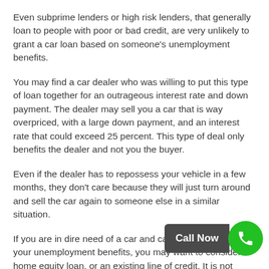Even subprime lenders or high risk lenders, that generally loan to people with poor or bad credit, are very unlikely to grant a car loan based on someone's unemployment benefits.
You may find a car dealer who was willing to put this type of loan together for an outrageous interest rate and down payment. The dealer may sell you a car that is way overpriced, with a large down payment, and an interest rate that could exceed 25 percent. This type of deal only benefits the dealer and not you the buyer.
Even if the dealer has to repossess your vehicle in a few months, they don't care because they will just turn around and sell the car again to someone else in a similar situation.
If you are in dire need of a car and can't qualify because of your unemployment benefits, you may want to consider a home equity loan, or an existing line of credit. It is not always wise to use a home equity line of credit. These type of loans can lead to excessive debt if used unwisely and cause you future problems financially.
If you absolutely must have a car then buy on... $2,... less) to get you by until you start your new job. That way you w... be adding debt to your financial situation while looking for another